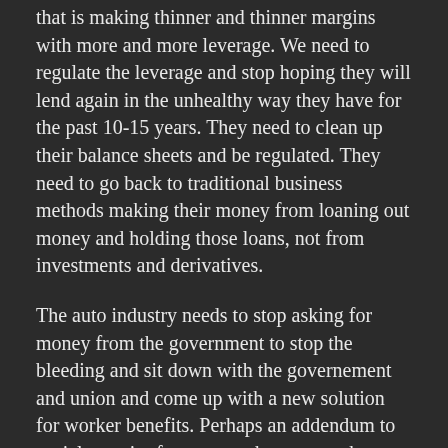that is making thinner and thinner margins with more and more leverage. We need to regulate the leverage and stop hoping they will lend again in the unhealthy way they have for the past 10-15 years. They need to clean up their balance sheets and be regulated. They need to go back to traditional business methods making their money from loaning out money and holding those loans, not from investments and derivatives.
The auto industry needs to stop asking for money from the government to stop the bleeding and sit down with the governement and union and come up with a new solution for worker benefits. Perhaps an addendum to social security for auto workers or another solution. Those legacy costs the big 3 are trying to handle simply aren't manageable and were wrong headed. The were great in the beginning they have grown to be to cumbersome to allow the auto industry to survive. We can leave it the way it is and loose the entire industry or we can fix that and then re-tool those auto plants